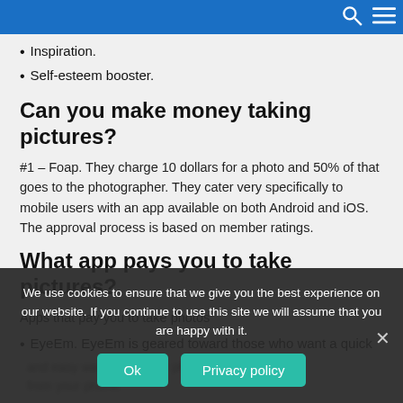Navigation bar with search and menu icons
Inspiration.
Self-esteem booster.
Can you make money taking pictures?
#1 – Foap. They charge 10 dollars for a photo and 50% of that goes to the photographer. They cater very specifically to mobile users with an app available on both Android and iOS. The approval process is based on member ratings.
What app pays you to take pictures?
Apps that pay you to take photos
EyeEm. EyeEm is geared toward those who want a quick and easy way to sell their photos directly from your phone.
Snapwire
miBu
Shutterstock
We use cookies to ensure that we give you the best experience on our website. If you continue to use this site we will assume that you are happy with it.